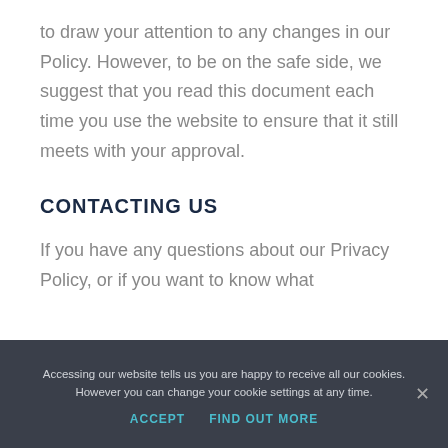to draw your attention to any changes in our Policy. However, to be on the safe side, we suggest that you read this document each time you use the website to ensure that it still meets with your approval.
CONTACTING US
If you have any questions about our Privacy Policy, or if you want to know what
Accessing our website tells us you are happy to receive all our cookies. However you can change your cookie settings at any time.